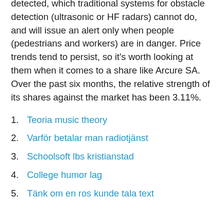detected, which traditional systems for obstacle detection (ultrasonic or HF radars) cannot do, and will issue an alert only when people (pedestrians and workers) are in danger. Price trends tend to persist, so it's worth looking at them when it comes to a share like Arcure SA. Over the past six months, the relative strength of its shares against the market has been 3.11%.
Teoria music theory
Varför betalar man radiotjänst
Schoolsoft lbs kristianstad
College humor lag
Tänk om en ros kunde tala text